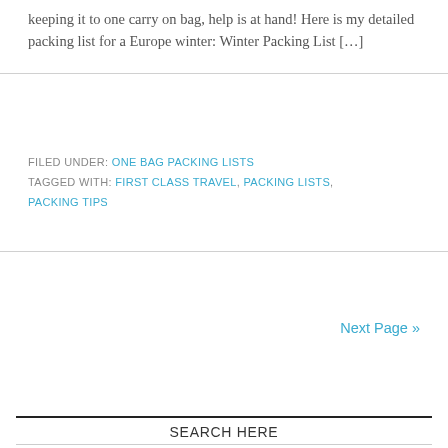keeping it to one carry on bag, help is at hand!  Here is my detailed packing list for a Europe winter: Winter Packing List […]
FILED UNDER: ONE BAG PACKING LISTS
TAGGED WITH: FIRST CLASS TRAVEL, PACKING LISTS, PACKING TIPS
Next Page »
SEARCH HERE